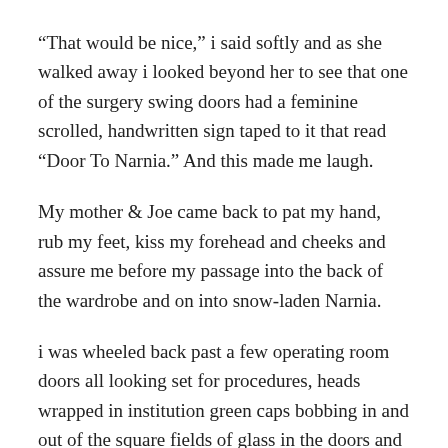“That would be nice,” i said softly and as she walked away i looked beyond her to see that one of the surgery swing doors had a feminine scrolled, handwritten sign taped to it that read “Door To Narnia.” And this made me laugh.
My mother & Joe came back to pat my hand, rub my feet, kiss my forehead and cheeks and assure me before my passage into the back of the wardrobe and on into snow-laden Narnia.
i was wheeled back past a few operating room doors all looking set for procedures, heads wrapped in institution green caps bobbing in and out of the square fields of glass in the doors and finally, there i was, last door on the right. They bumped my hospital bed / gurney against another set below operating